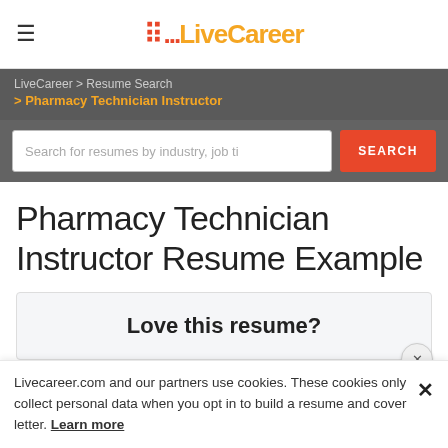LiveCareer
LiveCareer > Resume Search > Pharmacy Technician Instructor
Search for resumes by industry, job ti
Pharmacy Technician Instructor Resume Example
Love this resume?
Livecareer.com and our partners use cookies. These cookies only collect personal data when you opt in to build a resume and cover letter. Learn more